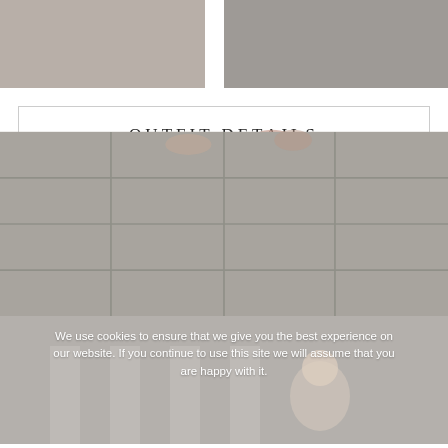[Figure (photo): Two side-by-side cropped photos showing feet/legs on tiled pavement]
OUTFIT DETAILS
Sandro Pepita bag F/W18/19 here or here
Chicwish faux fur coat here
Ralph Lauren pullover here
More & More jeans here
Ted Baker Lorca ankle boots here
[Figure (photo): Photo of a blonde woman standing in front of large columns, partially obscured by cookie notice overlay]
We use cookies to ensure that we give you the best experience on our website. If you continue to use this site we will assume that you are happy with it.